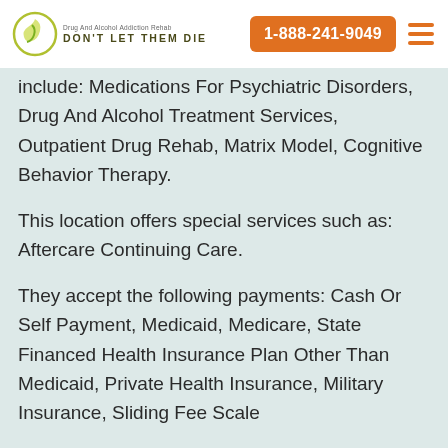[Figure (logo): Don't Let Them Die - Drug and Alcohol Addiction Rehab logo with circular icon]
1-888-241-9049
include: Medications For Psychiatric Disorders, Drug And Alcohol Treatment Services, Outpatient Drug Rehab, Matrix Model, Cognitive Behavior Therapy.
This location offers special services such as: Aftercare Continuing Care.
They accept the following payments: Cash Or Self Payment, Medicaid, Medicare, State Financed Health Insurance Plan Other Than Medicaid, Private Health Insurance, Military Insurance, Sliding Fee Scale.